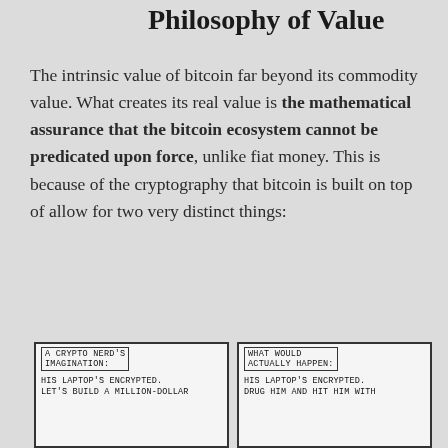Philosophy of Value
The intrinsic value of bitcoin far beyond its commodity value. What creates its real value is the mathematical assurance that the bitcoin ecosystem cannot be predicated upon force, unlike fiat money. This is because of the cryptography that bitcoin is built on top of allow for two very distinct things:
[Figure (illustration): Two-panel comic strip. Left panel titled 'A CRYPTO NERD'S IMAGINATION:' with text 'HIS LAPTOP'S ENCRYPTED. LET'S BUILD A MILLION-DOLLAR'. Right panel titled 'WHAT WOULD ACTUALLY HAPPEN:' with text 'HIS LAPTOP'S ENCRYPTED. DRUG HIM AND HIT HIM WITH']